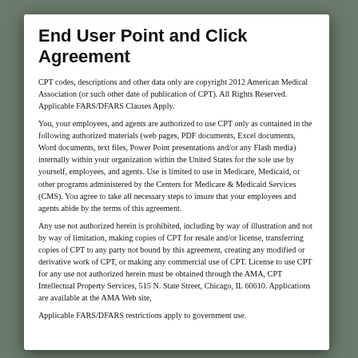End User Point and Click Agreement
CPT codes, descriptions and other data only are copyright 2012 American Medical Association (or such other date of publication of CPT). All Rights Reserved. Applicable FARS/DFARS Clauses Apply.
You, your employees, and agents are authorized to use CPT only as contained in the following authorized materials (web pages, PDF documents, Excel documents, Word documents, text files, Power Point presentations and/or any Flash media) internally within your organization within the United States for the sole use by yourself, employees, and agents. Use is limited to use in Medicare, Medicaid, or other programs administered by the Centers for Medicare & Medicaid Services (CMS). You agree to take all necessary steps to insure that your employees and agents abide by the terms of this agreement.
Any use not authorized herein is prohibited, including by way of illustration and not by way of limitation, making copies of CPT for resale and/or license, transferring copies of CPT to any party not bound by this agreement, creating any modified or derivative work of CPT, or making any commercial use of CPT. License to use CPT for any use not authorized herein must be obtained through the AMA, CPT Intellectual Property Services, 515 N. State Street, Chicago, IL 60610. Applications are available at the AMA Web site,
Applicable FARS/DFARS restrictions apply to government use.